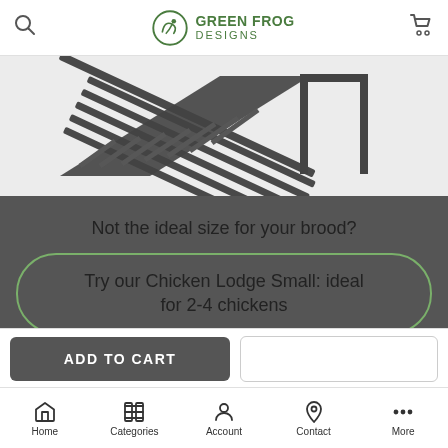GREEN FROG DESIGNS
[Figure (photo): Black chicken coop ramp/ladder accessory photographed against white background]
Not the ideal size for your brood?
Try our Chicken Lodge Small: ideal for 2-4 chickens
Try our Chicken Lodge Large: ideal
Home | Categories | Account | Contact | More